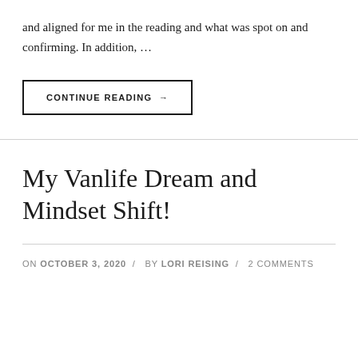and aligned for me in the reading and what was spot on and confirming.  In addition, …
CONTINUE READING →
My Vanlife Dream and Mindset Shift!
ON OCTOBER 3, 2020 / BY LORI REISING / 2 COMMENTS